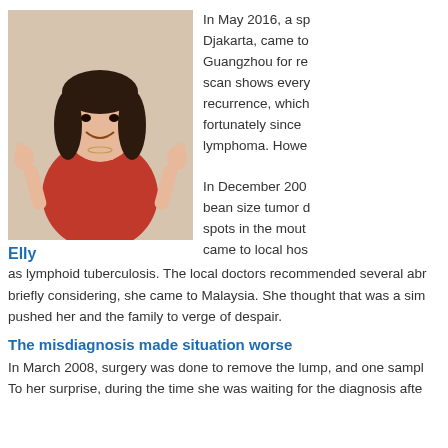[Figure (photo): Woman in red shirt giving two thumbs up, smiling, with dark hair, standing against a beige background]
In May 2016, a sp... Djakarta, came to... Guangzhou for re... scan shows every... recurrence, which... fortunately since... lymphoma. Howe... In December 200... bean size tumor d... spots in the mout... came to local hos...
Elly
as lymphoid tuberculosis. The local doctors recommended several abr briefly considering, she came to Malaysia. She thought that was a sim pushed her and the family to verge of despair.
The misdiagnosis made situation worse
In March 2008, surgery was done to remove the lump, and one sampl To her surprise, during the time she was waiting for the diagnosis afte